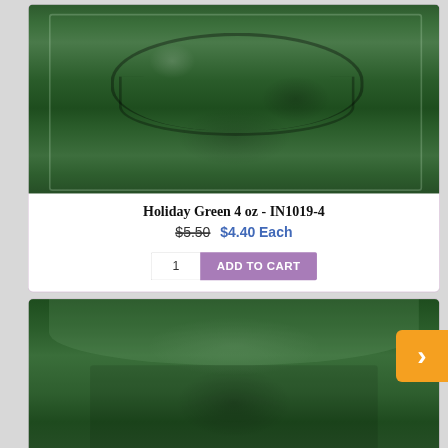[Figure (photo): Close-up photo of Holiday Green 4 oz ceramic glaze tile showing dark green glossy glaze texture with embossed surface details]
Holiday Green 4 oz - IN1019-4
$5.50  $4.40 Each
[Figure (photo): Close-up photo of a second green ceramic glaze tile, darker green with a trapezoidal shape showing glossy surface]